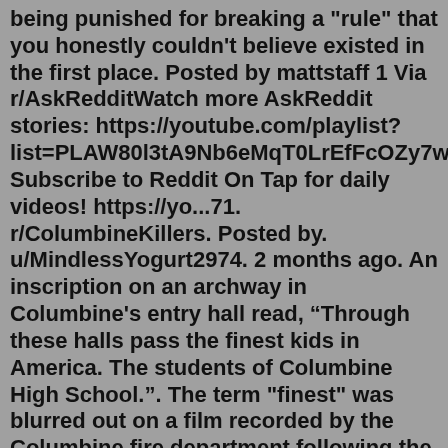being punished for breaking a "rule" that you honestly couldn't believe existed in the first place. Posted by mattstaff 1 Via r/AskRedditWatch more AskReddit stories: https://youtube.com/playlist?list=PLAW80l3tA9Nb6eMqT0LrEfFcOZy7wv2TPl Subscribe to Reddit On Tap for daily videos! https://yo...71. r/ColumbineKillers. Posted by. u/MindlessYogurt2974. 2 months ago. An inscription on an archway in Columbine's entry hall read, “Through these halls pass the finest kids in America. The students of Columbine High School.”. The term "finest" was blurred out on a film recorded by the Columbine fire department following the incident. GYBE Bus tent FOR SALE . Currently used on a California Beach. Simple , great bit of kit, classic German design that works. Take a look at the website for video and full description. in original gybe backpack and pump . £500. (cost over £1300 new) take a look : www.gybe_desgn.com. View attachment 95004 View attachment 95005.Before being allowed to